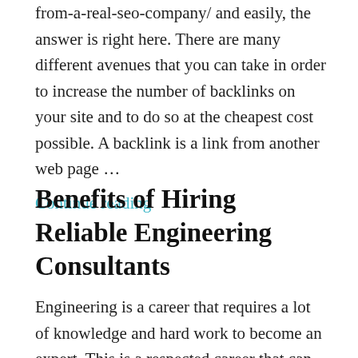from-a-real-seo-company/ and easily, the answer is right here. There are many different avenues that you can take in order to increase the number of backlinks on your site and to do so at the cheapest cost possible. A backlink is a link from another web page …
Continue reading
Benefits of Hiring Reliable Engineering Consultants
Engineering is a career that requires a lot of knowledge and hard work to become an expert. This is a respected career that can really help in a lot of